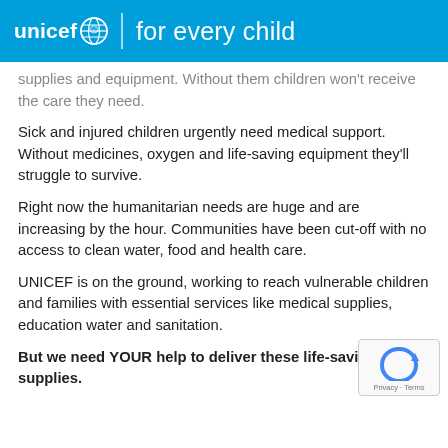unicef for every child
supplies and equipment. Without them children won't receive the care they need.
Sick and injured children urgently need medical support. Without medicines, oxygen and life-saving equipment they'll struggle to survive.
Right now the humanitarian needs are huge and are increasing by the hour. Communities have been cut-off with no access to clean water, food and health care.
UNICEF is on the ground, working to reach vulnerable children and families with essential services like medical supplies, education water and sanitation.
But we need YOUR help to deliver these life-saving supplies.